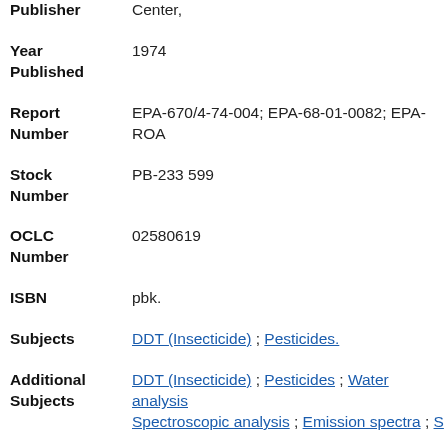Publisher: Center,
Year Published: 1974
Report Number: EPA-670/4-74-004; EPA-68-01-0082; EPA-ROA
Stock Number: PB-233 599
OCLC Number: 02580619
ISBN: pbk.
Subjects: DDT (Insecticide) ; Pesticides.
Additional Subjects: DDT (Insecticide) ; Pesticides ; Water analysis ; Spectroscopic analysis ; Emission spectra ; S